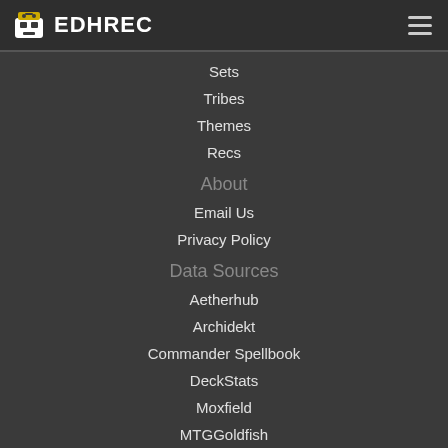EDHREC
Sets
Tribes
Themes
Recs
About
Email Us
Privacy Policy
Data Sources
Aetherhub
Archidekt
Commander Spellbook
DeckStats
Moxfield
MTGGoldfish
Scryfall
Follow Us